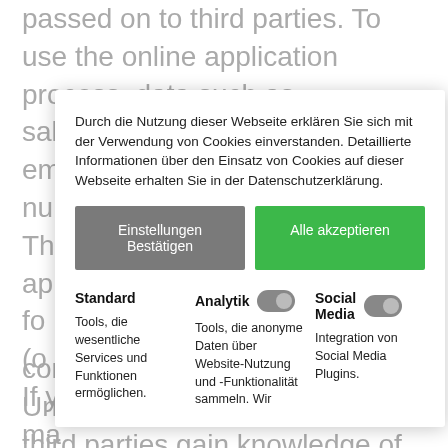passed on to third parties. To use the online application process, data such as salutation, first name, last name, email address and telephone number (optional) are collected. This data is ba... ap... fo... (o...
[Figure (screenshot): Cookie consent dialog overlay with German text, two buttons (Einstellungen Bestätigen and Alle akzeptieren), and three cookie category columns (Standard, Analytik, Social Media) with toggle switches]
confidentiality of your data. Under no circumstances will third parties gain knowledge of your details. The processing of data takes place exclusively in Germany. We have concluded a data